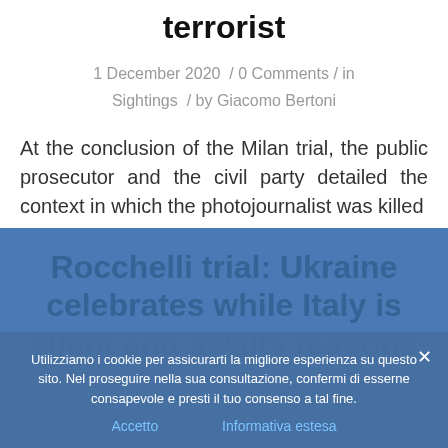terrorist
1 December 2020  / 0 Comments / in
Sightings  / by Giacomo Bertoni
At the conclusion of the Milan trial, the public prosecutor and the civil party detailed the context in which the photojournalist was killed
Utilizziamo i cookie per assicurarti la migliore esperienza su questo sito. Nel proseguire nella sua consultazione, confermi di esserne consapevole e presti il tuo consenso a tal fine.
Rocchelli trial: Ukraine celebrates while Italy is silent and awaits reasons